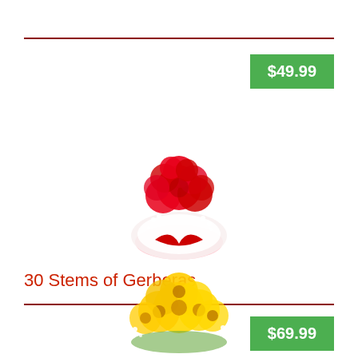[Figure (photo): Red gerbera daisy bouquet with white wrap and red ribbon]
30 Stems of Gerberas
$49.99
$69.99
[Figure (photo): Yellow gerbera daisy bouquet arrangement]